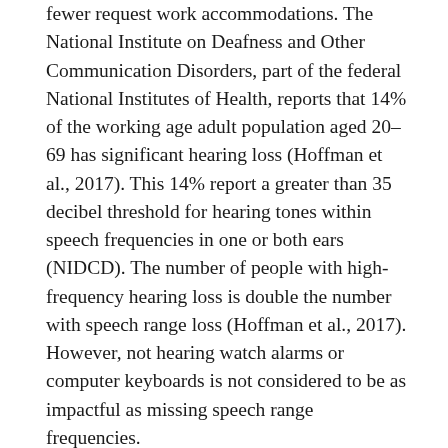fewer request work accommodations. The National Institute on Deafness and Other Communication Disorders, part of the federal National Institutes of Health, reports that 14% of the working age adult population aged 20–69 has significant hearing loss (Hoffman et al., 2017). This 14% report a greater than 35 decibel threshold for hearing tones within speech frequencies in one or both ears (NIDCD). The number of people with high-frequency hearing loss is double the number with speech range loss (Hoffman et al., 2017). However, not hearing watch alarms or computer keyboards is not considered to be as impactful as missing speech range frequencies.
As Figure 1 shows, the statistics on hearing loss are further complicated by age, which correlates with incidence of hearing loss. Among folks aged 60–69 years, 39% have hearing loss (Hoffman et al., 2017). Within the larger disabled community, we crips joke that we are a community that can recruit new members. Joking aside, the reality is